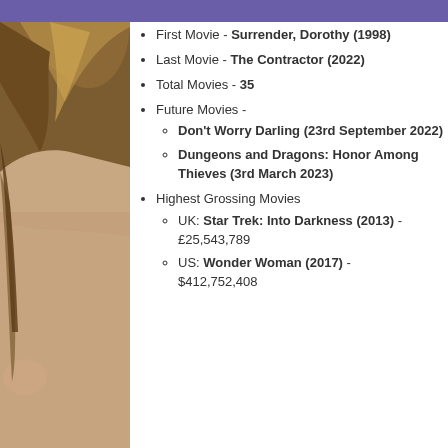[Figure (photo): Close-up photo of a man with brown highlighted hair and blue eyes]
First Movie - Surrender, Dorothy (1998)
Last Movie - The Contractor (2022)
Total Movies - 35
Future Movies -
Don't Worry Darling (23rd September 2022)
Dungeons and Dragons: Honor Among Thieves (3rd March 2023)
Highest Grossing Movies
UK: Star Trek: Into Darkness (2013) - £25,543,789
US: Wonder Woman (2017) - $412,752,408